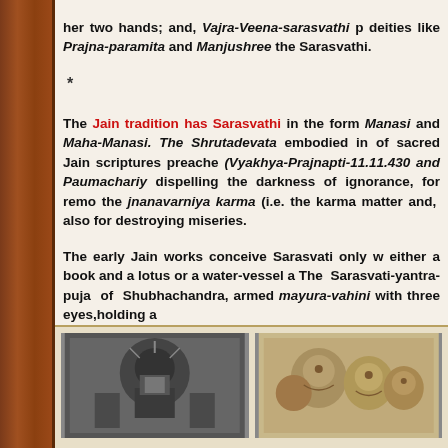her two hands; and, Vajra-Veena-sarasvathi p deities like Prajna-paramita and Manjushree the Sarasvathi.
*
The Jain tradition has Sarasvathi in the form Manasi and Maha-Manasi. The Shrutadevata embodied in of sacred Jain scriptures preache (Vyakhya-Prajnapti-11.11.430 and Paumachariy dispelling the darkness of ignorance, for remo the jnanavarniya karma (i.e. the karma matter and, also for destroying miseries.
The early Jain works conceive Sarasvati only w either a book and a lotus or a water-vessel a The Sarasvati-yantra-puja of Shubhachandra, armed mayura-vahini with three eyes,holding a
[Figure (photo): Stone relief carving showing a deity figure with elaborate decorations]
[Figure (photo): Stone sculpture showing multiple deity faces/heads]